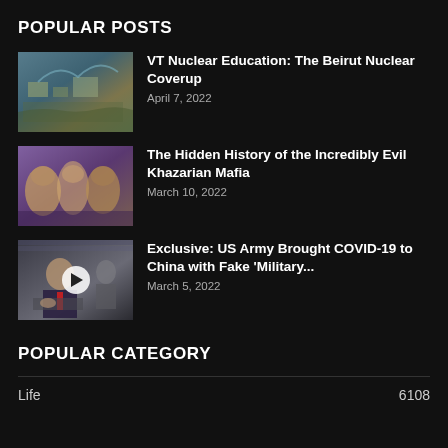POPULAR POSTS
VT Nuclear Education: The Beirut Nuclear Coverup
April 7, 2022
The Hidden History of the Incredibly Evil Khazarian Mafia
March 10, 2022
Exclusive: US Army Brought COVID-19 to China with Fake 'Military...
March 5, 2022
POPULAR CATEGORY
Life	6108